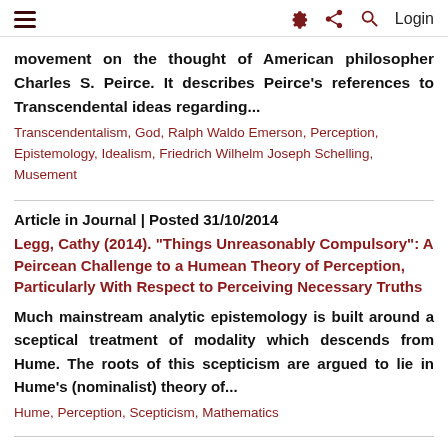≡  ⚙ < Q  Login
movement on the thought of American philosopher Charles S. Peirce. It describes Peirce's references to Transcendental ideas regarding...
Transcendentalism, God, Ralph Waldo Emerson, Perception, Epistemology, Idealism, Friedrich Wilhelm Joseph Schelling, Musement
Article in Journal | Posted 31/10/2014
Legg, Cathy (2014). "Things Unreasonably Compulsory": A Peircean Challenge to a Humean Theory of Perception, Particularly With Respect to Perceiving Necessary Truths
Much mainstream analytic epistemology is built around a sceptical treatment of modality which descends from Hume. The roots of this scepticism are argued to lie in Hume's (nominalist) theory of...
Hume, Perception, Scepticism, Mathematics
Article in Journal | Posted 30/10/2014
Wilson, Aaron (2012). The Perception of Generals